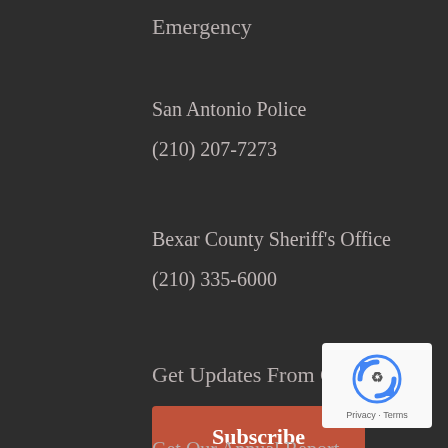Emergency
San Antonio Police
(210) 207-7273
Bexar County Sheriff's Office
(210) 335-6000
Get Updates From ChildSafe
Subscribe
Get Our Annual Report
[Figure (logo): Google reCAPTCHA badge with recycle-arrow icon and Privacy · Terms text]